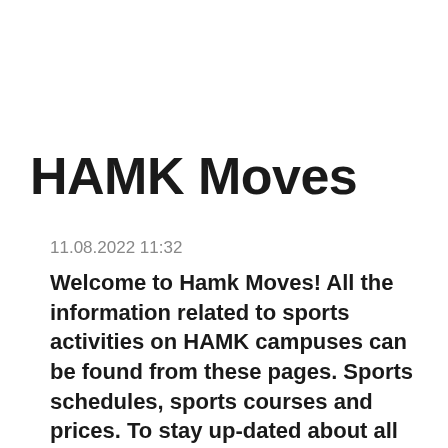HAMK Moves
11.08.2022 11:32
Welcome to Hamk Moves! All the information related to sports activities on HAMK campuses can be found from these pages. Sports schedules, sports courses and prices. To stay up-dated about all that is